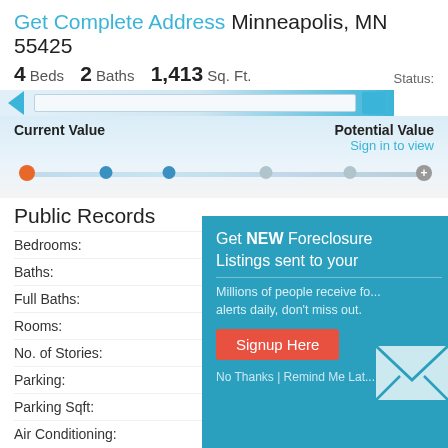Get Complete Address Minneapolis, MN 55425
4 Beds   2 Baths   1,413 Sq. Ft.   Status:
[Figure (infographic): Property value slider bar with Current Value on left and Potential Value on right. Orange dot at far left, two blue dots at left-center, two gray dots at right-center, and a plus button at far right. Sign in to view link under Potential Value.]
Public Records
Bedrooms:   Sign in to
Baths:   Sign in to
Full Baths:   Sign in to
Rooms:   Sign in to
No. of Stories:   Sign in to
Parking:   Sign in to
Parking Sqft:   Sign in to view
Air Conditioning:   Sign in to view
[Figure (infographic): Popup overlay in teal/blue color. Header: Get NEW Foreclosure Listings sent to your. Body text: Millions of people receive fo... alerts daily, don't miss out. Red Signup Here button. Footer: No Thanks | Remind Me Lat... Mail envelope icon on right side.]